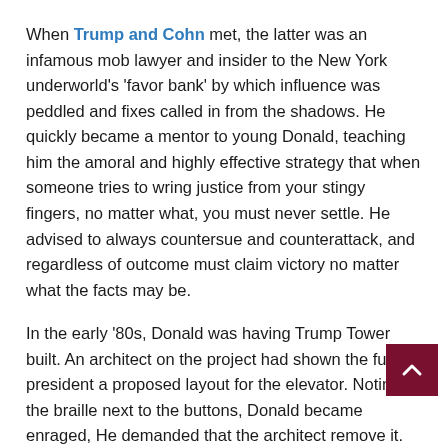When Trump and Cohn met, the latter was an infamous mob lawyer and insider to the New York underworld's 'favor bank' by which influence was peddled and fixes called in from the shadows. He quickly became a mentor to young Donald, teaching him the amoral and highly effective strategy that when someone tries to wring justice from your stingy fingers, no matter what, you must never settle. He advised to always countersue and counterattack, and regardless of outcome must claim victory no matter what the facts may be.
In the early '80s, Donald was having Trump Tower built. An architect on the project had shown the future president a proposed layout for the elevator. Noting the braille next to the buttons, Donald became enraged, He demanded that the architect remove it. The architect told him that this was against the law, and Trump screamed, "Get rid of the (expletive) Braille. No blind people are going to live in Trump Tower," and berated the man as 'weak'.
We do not do him a little more on the opinion...